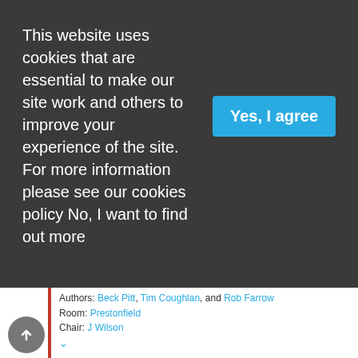This website uses cookies that are essential to make our site work and others to improve your experience of the site. For more information please see our cookies policy No, I want to find out more
Yes, I agree
Authors: Beck Pitt, Tim Coughlan, and Rob Farrow
Room: Prestonfield
Chair: J Wilson
Reframing 'open' in the context of the Digital University [1119]
Type: Presentation
Authors: Sheila MacNeill, Keith Smyth, and Bill Johnston
Room: Prestonfield
Chair: J Wilson
Stolen Lives: Open educational resources to